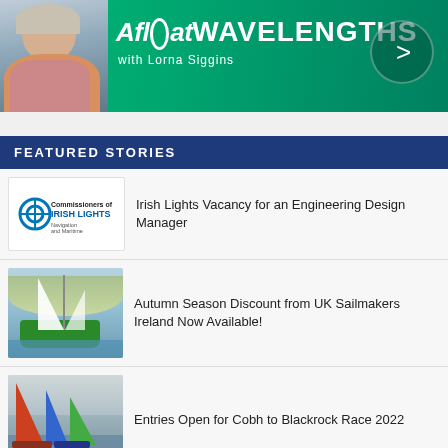[Figure (illustration): Afloat Wavelengths podcast banner with Lorna Siggins photo, teal/green gradient background, white logo text and arrow button]
FEATURED STORIES
[Figure (logo): Commissioners of Irish Lights logo]
Irish Lights Vacancy for an Engineering Design Manager
[Figure (photo): Green sailboat racing on water]
Autumn Season Discount from UK Sailmakers Ireland Now Available!
[Figure (photo): Colourful racing yachts on water at Cobh to Blackrock Race]
Entries Open for Cobh to Blackrock Race 2022
[Figure (photo): Partial thumbnail of next story]
J/24 Europeans At Howth In Latest Stage In A...